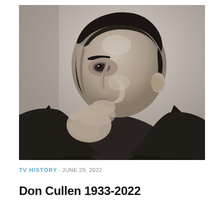[Figure (photo): Black and white portrait photograph of a man with dark slicked-back hair, strong facial features, resting his chin on his hand, looking to the left. The image has a classic mid-20th century studio photography style.]
TV HISTORY - JUNE 29, 2022
Don Cullen 1933-2022